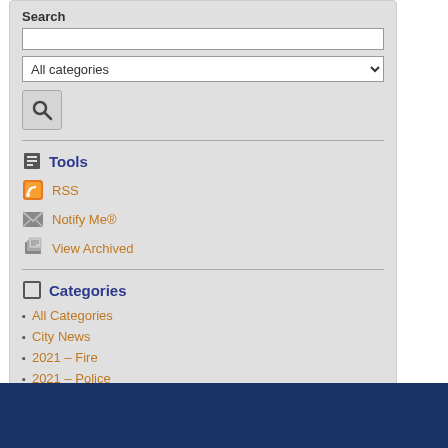Search
[Figure (screenshot): Search text input field (empty)]
[Figure (screenshot): Dropdown selector showing 'All categories']
[Figure (screenshot): Search button with magnifying glass icon]
Tools
RSS
Notify Me®
View Archived
Categories
All Categories
City News
2021 - Fire
2021 - Police